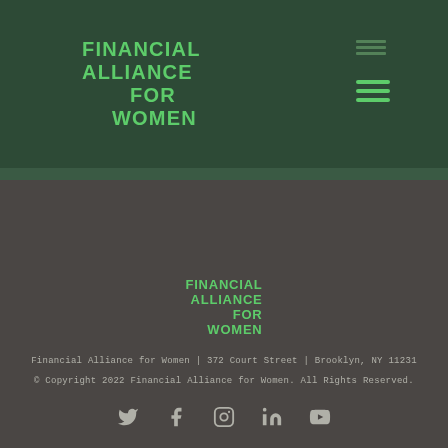FINANCIAL ALLIANCE FOR WOMEN
[Figure (logo): Financial Alliance for Women logo with green text on dark green background, hamburger menu icon top right]
[Figure (logo): Financial Alliance for Women logo centered in footer on dark gray background]
Financial Alliance for Women | 372 Court Street | Brooklyn, NY 11231
© Copyright 2022 Financial Alliance for Women. All Rights Reserved.
[Figure (other): Social media icons: Twitter, Facebook, Instagram, LinkedIn, YouTube]